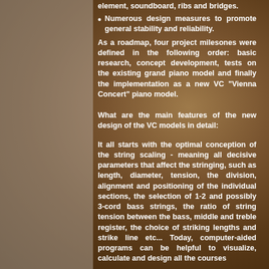element, soundboard, ribs and bridges.
Numerous design measures to promote general stability and reliability.
As a roadmap, four project milesones were defined in the following order: basic research, concept development, tests on the existing grand piano model and finally the implementation as a new VC "Vienna Concert" piano model.
What are the main features of the new design of the VC models in detail:
It all starts with the optimal conception of the string scaling - meaning all decisive parameters that affect the stringing, such as length, diameter, tension, the division, alignment and positioning of the individual sections, the selection of 1-2 and possibly 3-cord bass strings, the ratio of string tension between the bass, middle and treble register, the choice of striking lengths and strike line etc... Today, computer-aided programs can be helpful to visualize, calculate and design all the courses